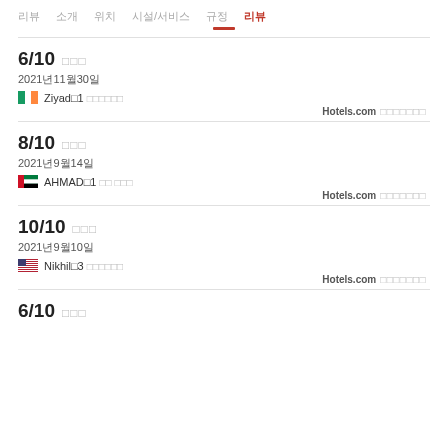리뷰 소개 위치 시설/서비스 규정 리뷰
6/10 □□□ 2021년11월30일 🇮🇪 Ziyad□1 □□□□□□ Hotels.com □□□□□□□
8/10 □□□ 2021년9월14일 🇦🇪 AHMAD□1 □□ □□□ Hotels.com □□□□□□□
10/10 □□□ 2021년9월10일 🇺🇸 Nikhil□3 □□□□□□ Hotels.com □□□□□□□
6/10 □□□